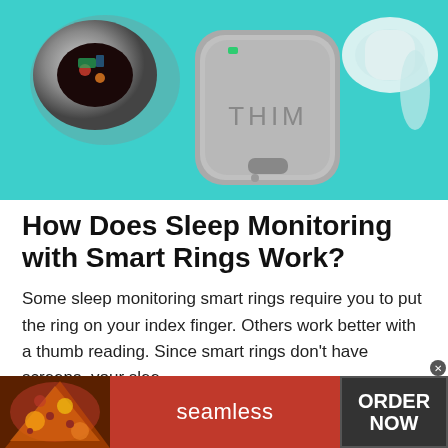[Figure (photo): Product photo of smart rings/earbuds on a teal/cyan background — showing a metallic smart ring with circuit internals visible, a grey smart device labeled 'THIM', and a white earbud-style device]
How Does Sleep Monitoring with Smart Rings Work?
Some sleep monitoring smart rings require you to put the ring on your index finger. Others work better with a thumb reading. Since smart rings don't have screens, your slee…
[Figure (screenshot): Seamless food delivery advertisement banner with pizza image on left, red 'seamless' logo in center, and 'ORDER NOW' button on dark background on right]